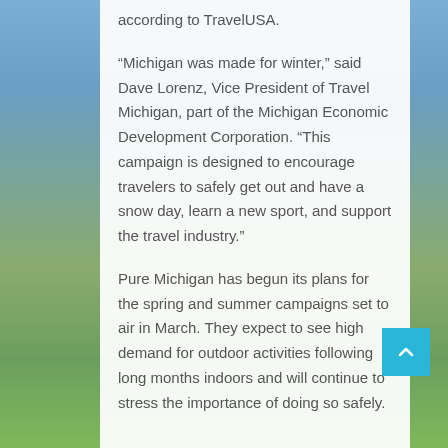according to TravelUSA.
“Michigan was made for winter,” said Dave Lorenz, Vice President of Travel Michigan, part of the Michigan Economic Development Corporation. “This campaign is designed to encourage travelers to safely get out and have a snow day, learn a new sport, and support the travel industry.”
Pure Michigan has begun its plans for the spring and summer campaigns set to air in March. They expect to see high demand for outdoor activities following long months indoors and will continue to stress the importance of doing so safely.